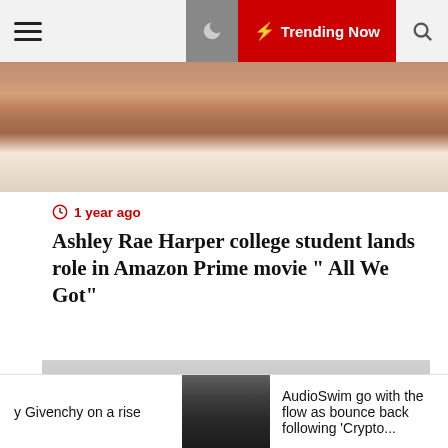Trending Now
[Figure (photo): Close-up cropped photo of a person's face (lower half), showing nose, lips and chin]
1 year ago
Ashley Rae Harper college student lands role in Amazon Prime movie " All We Got"
[Figure (photo): Dark gradient placeholder image with 'YOUR DIGITAL WALL' watermark logo]
y Givenchy on a rise
[Figure (photo): Person in black t-shirt in the ticker bar]
AudioSwim go with the flow as bounce back following 'Crypto...